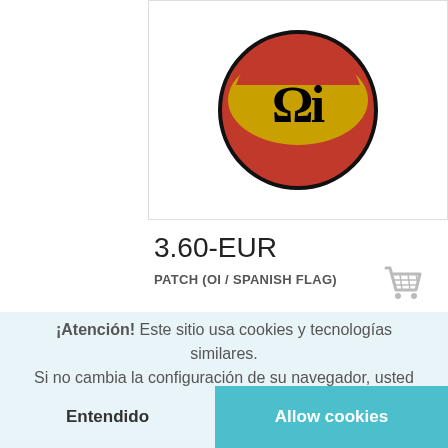[Figure (photo): Circular embroidered patch with 'Oi' text in gothic/blackletter font on a red and gold background]
3.60-EUR
PATCH (OI / SPANISH FLAG)
[Figure (photo): Partial view of a rectangular patch or sticker with 'VOLVERON' text]
¡Atención! Este sitio usa cookies y tecnologías similares.
Si no cambia la configuración de su navegador, usted acepta su uso.
Leer más
Entendido
Allow cookies
[Figure (photo): Partial view of a red patch with an eagle or similar emblem at the bottom]